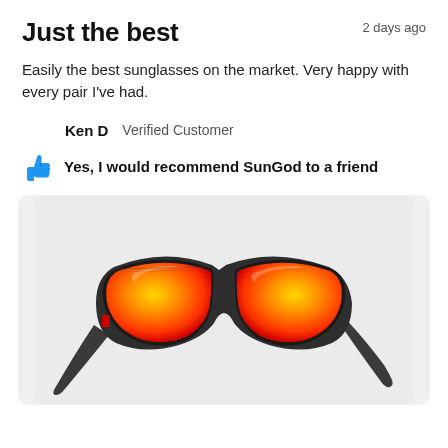Just the best
2 days ago
Easily the best sunglasses on the market. Very happy with every pair I've had.
Ken D   Verified Customer
Yes, I would recommend SunGod to a friend
[Figure (photo): Photo of SunGod sunglasses with dark carbon fiber frames and orange-red mirrored lenses, viewed from a low angle against a light grey background.]